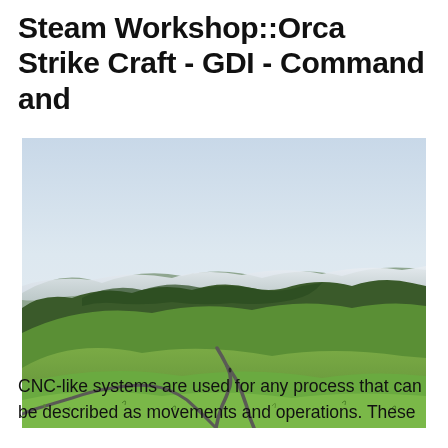Steam Workshop::Orca Strike Craft - GDI - Command and
[Figure (photo): Landscape photograph of rolling green hills with a winding road, dense forest on hilltops, and a low bank of white clouds or fog in the background under a pale sky.]
CNC-like systems are used for any process that can be described as movements and operations. These